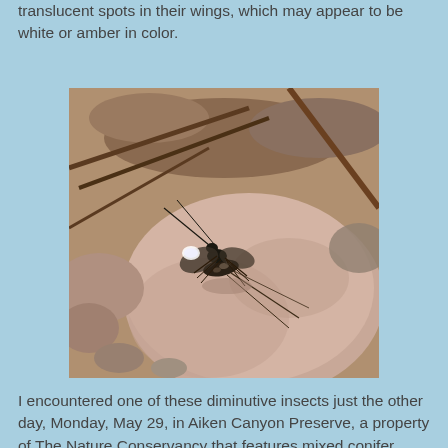translucent spots in their wings, which may appear to be white or amber in color.
[Figure (photo): Close-up photograph of a small insect (likely a stonefly or similar) resting on a pale pink/tan rock, surrounded by twigs and gravel. The insect has dark mottled coloring with visible wings and long antennae. A white translucent spot is visible on the wing.]
I encountered one of these diminutive insects just the other day, Monday, May 29, in Aiken Canyon Preserve, a property of The Nature Conservancy that features mixed conifer (mostly Ponderosa Pine and juniper) forest, impressive